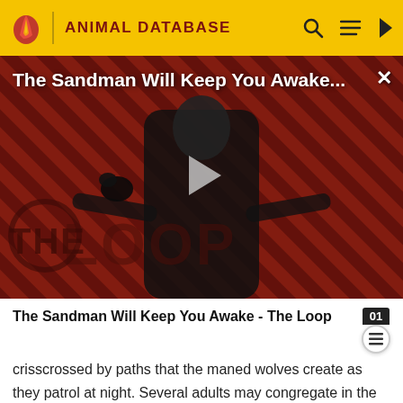ANIMAL DATABASE
[Figure (screenshot): Video thumbnail showing a dark-clad figure against a red diagonal-striped background with 'THE LOOP' logo overlay and a play button. Title overlay reads 'The Sandman Will Keep You Awake...']
The Sandman Will Keep You Awake - The Loop
crisscrossed by paths that the maned wolves create as they patrol at night. Several adults may congregate in the presence of a plentiful food source, for example, a fire-